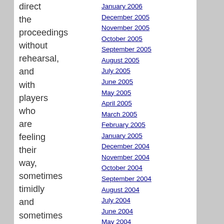direct the proceedings without rehearsal, and with players who are feeling their way, sometimes timidly and sometimes with comical forthrightness, through the unwritten score
January 2006
December 2005
November 2005
October 2005
September 2005
August 2005
July 2005
June 2005
May 2005
April 2005
March 2005
February 2005
January 2005
December 2004
November 2004
October 2004
September 2004
August 2004
July 2004
June 2004
May 2004
April 2004
March 2004
February 2004
January 2004
December 2003
November 2003
October 2003
September 2003
August 2003